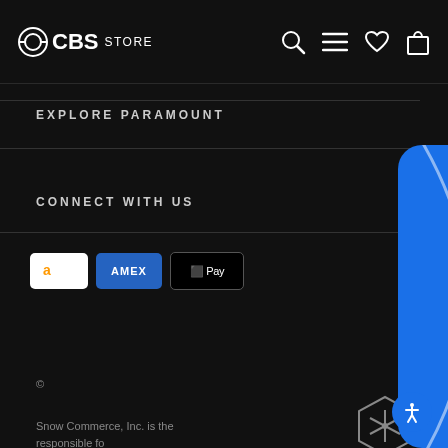CBS STORE
EXPLORE PARAMOUNT
CONNECT WITH US
[Figure (screenshot): Payment method badges: Amazon, AMEX, Apple Pay]
©
[Figure (logo): Snow Commerce hexagon logo]
Snow Commerce, Inc. is the responsible fo
[Figure (infographic): Sign Up & Save popup overlay on blue background with email subscription form]
Sign Up & Save
Sign up for our newsletter and 15% on your next order!
Enter your email
SUBS